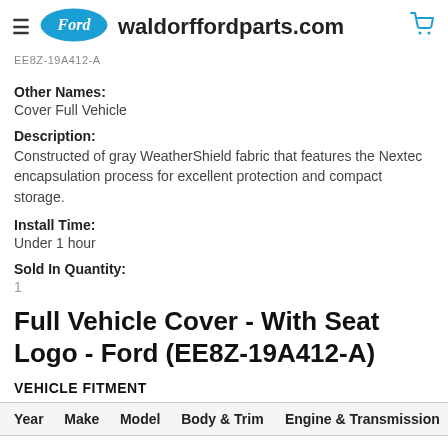waldorffordparts.com
EE8Z-19A412-A
Other Names:
Cover Full Vehicle
Description:
Constructed of gray WeatherShield fabric that features the Nextec encapsulation process for excellent protection and compact storage.
Install Time:
Under 1 hour
Sold In Quantity:
1
Full Vehicle Cover - With Seat Logo - Ford (EE8Z-19A412-A)
VEHICLE FITMENT
| Year | Make | Model | Body & Trim | Engine & Transmission |
| --- | --- | --- | --- | --- |